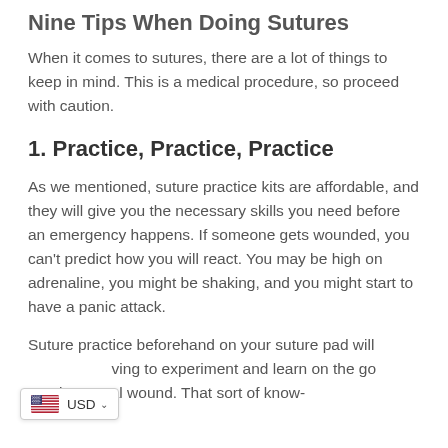Nine Tips When Doing Sutures
When it comes to sutures, there are a lot of things to keep in mind. This is a medical procedure, so proceed with caution.
1. Practice, Practice, Practice
As we mentioned, suture practice kits are affordable, and they will give you the necessary skills you need before an emergency happens. If someone gets wounded, you can't predict how you will react. You may be high on adrenaline, you might be shaking, and you might start to have a panic attack.
Suture practice beforehand on your suture pad will eliminate having to experiment and learn on the go when treating a real wound. That sort of know-
[Figure (other): USD currency selector widget with US flag in bottom-left corner of page]